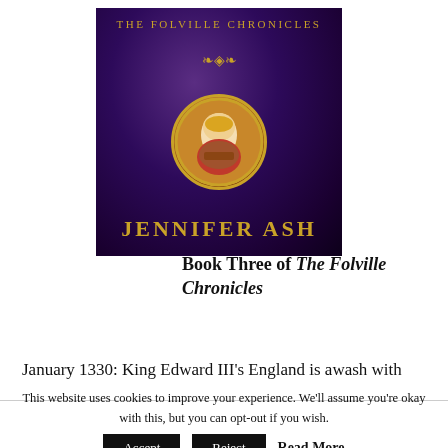[Figure (illustration): Book cover for The Folville Chronicles by Jennifer Ash. Purple/violet dark background with a gold circular portrait of a medieval woman in the center, gold ornamental title at top reading 'The Folville Chronicles', and author name 'Jennifer Ash' in gold at the bottom.]
Book Three of The Folville Chronicles
January 1330: King Edward III's England is awash with
This website uses cookies to improve your experience. We'll assume you're okay with this, but you can opt-out if you wish.
Accept   Reject   Read More